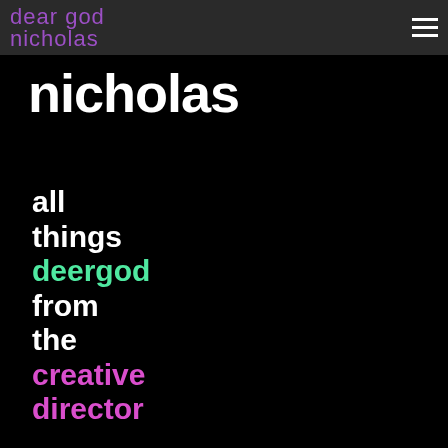dear god nicholas
nicholas
all things deergod from the creative director
[Figure (illustration): Twitter bird icon in white on black background]
[Figure (illustration): Facebook circle icon in white on black background]
[Figure (illustration): Instagram camera circle icon in white on black background]